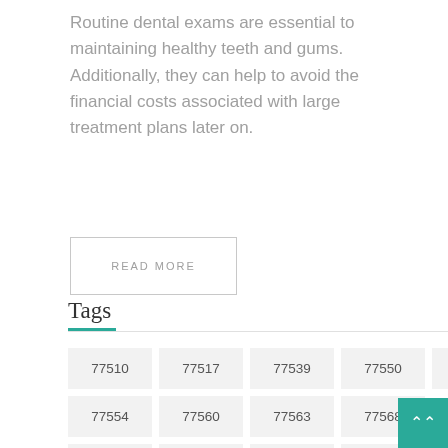Routine dental exams are essential to maintaining healthy teeth and gums. Additionally, they can help to avoid the financial costs associated with large treatment plans later on.
READ MORE
Tags
77510
77517
77539
77550
77551
77554
77560
77563
77568
77590
77591
77617
77623
7765